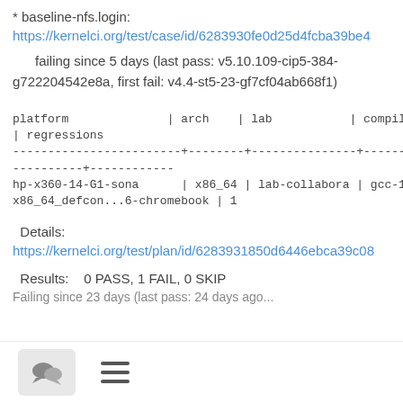* baseline-nfs.login:
https://kernelci.org/test/case/id/6283930fe0d25d4fcba39be4
failing since 5 days (last pass: v5.10.109-cip5-384-g722204542e8a, first fail: v4.4-st5-23-gf7cf04ab668f1)
| platform | arch | lab | compiler | defconfig | regressions |
| --- | --- | --- | --- | --- | --- |
| hp-x360-14-G1-sona | x86_64 | lab-collabora | gcc-10 | x86_64_defcon...6-chromebook | 1 |
Details:
https://kernelci.org/test/plan/id/6283931850d6446ebca39c08
Results:    0 PASS, 1 FAIL, 0 SKIP